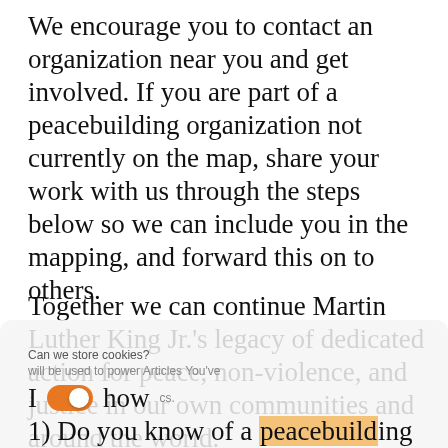We encourage you to contact an organization near you and get involved. If you are part of a peacebuilding organization not currently on the map, share your work with us through the steps below so we can include you in the mapping, and forward this on to others.
Together we can continue Martin Luther King Jr.'s legacy of dedicated action for peace, non-violence, and justice in our own communities and around the world.
1) Do you know of a peacebuilding